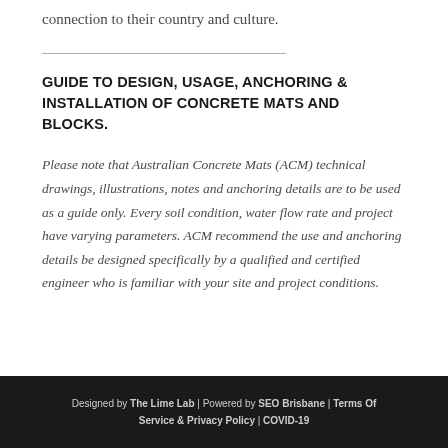connection to their country and culture.
GUIDE TO DESIGN, USAGE, ANCHORING & INSTALLATION OF CONCRETE MATS AND BLOCKS.
Please note that Australian Concrete Mats (ACM) technical drawings, illustrations, notes and anchoring details are to be used as a guide only. Every soil condition, water flow rate and project have varying parameters. ACM recommend the use and anchoring details be designed specifically by a qualified and certified engineer who is familiar with your site and project conditions.
Designed by The Lime Lab | Powered by SEO Brisbane | Terms Of Service & Privacy Policy | COVID-19